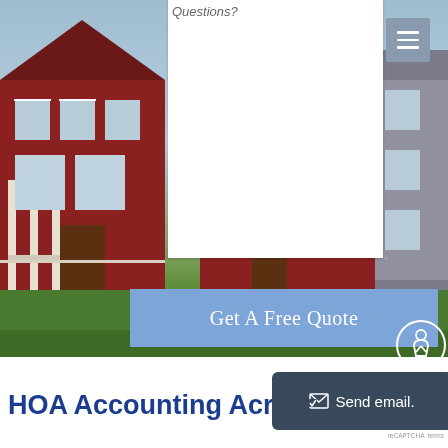[Figure (photo): Website screenshot showing a red house with green lawn background, a white dialog box with 'Questions?' text, a hamburger menu button, a blue 'Get A Free Quote' CTA bar, a circular accessibility icon, and a 'Send email' button overlay. Bottom shows 'HOA Accounting Acros...' title in dark blue.]
Questions?
Get A Free Quote
HOA Accounting Acros
Send email.